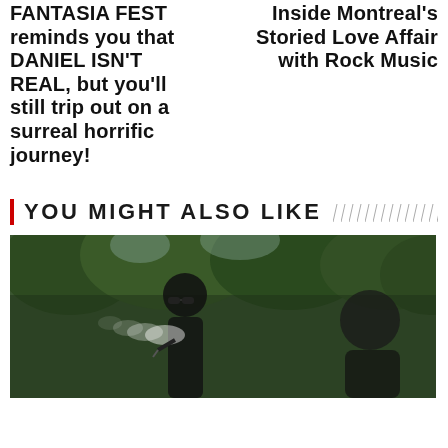FANTASIA FEST reminds you that DANIEL ISN'T REAL, but you'll still trip out on a surreal horrific journey!
Inside Montreal's Storied Love Affair with Rock Music
YOU MIGHT ALSO LIKE
[Figure (photo): Outdoor photo of a person wearing sunglasses and blowing smoke, surrounded by trees in the background, with another person partially visible on the right.]